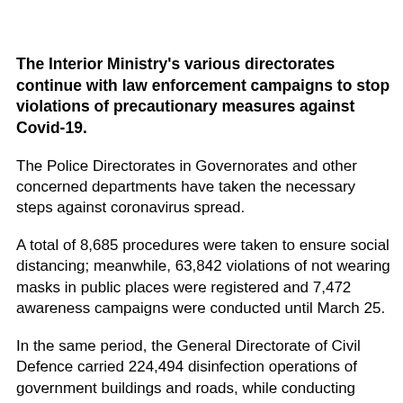The Interior Ministry's various directorates continue with law enforcement campaigns to stop violations of precautionary measures against Covid-19.
The Police Directorates in Governorates and other concerned departments have taken the necessary steps against coronavirus spread.
A total of 8,685 procedures were taken to ensure social distancing; meanwhile, 63,842 violations of not wearing masks in public places were registered and 7,472 awareness campaigns were conducted until March 25.
In the same period, the General Directorate of Civil Defence carried 224,494 disinfection operations of government buildings and roads, while conducting training for 1,173 individuals in the private sector and 1,051 in the public sector.